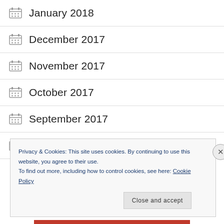January 2018
December 2017
November 2017
October 2017
September 2017
August 2017
Privacy & Cookies: This site uses cookies. By continuing to use this website, you agree to their use.
To find out more, including how to control cookies, see here: Cookie Policy
Close and accept